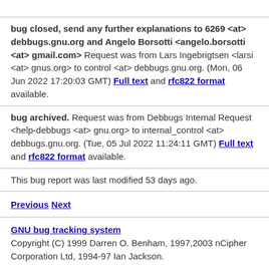bug closed, send any further explanations to 6269 <at> debbugs.gnu.org and Angelo Borsotti <angelo.borsotti <at> gmail.com> Request was from Lars Ingebrigtsen <larsi <at> gnus.org> to control <at> debbugs.gnu.org. (Mon, 06 Jun 2022 17:20:03 GMT) Full text and rfc822 format available.
bug archived. Request was from Debbugs Internal Request <help-debbugs <at> gnu.org> to internal_control <at> debbugs.gnu.org. (Tue, 05 Jul 2022 11:24:11 GMT) Full text and rfc822 format available.
This bug report was last modified 53 days ago.
Previous Next
GNU bug tracking system Copyright (C) 1999 Darren O. Benham, 1997,2003 nCipher Corporation Ltd, 1994-97 Ian Jackson.